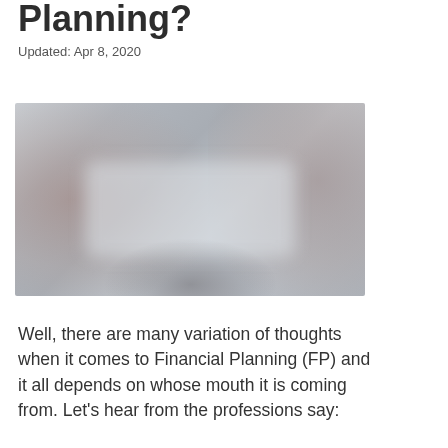Planning?
Updated: Apr 8, 2020
[Figure (photo): Blurred photo of people at a table, likely in a business or financial planning meeting setting]
Well, there are many variation of thoughts when it comes to Financial Planning (FP) and it all depends on whose mouth it is coming from. Let's hear from the professions say: